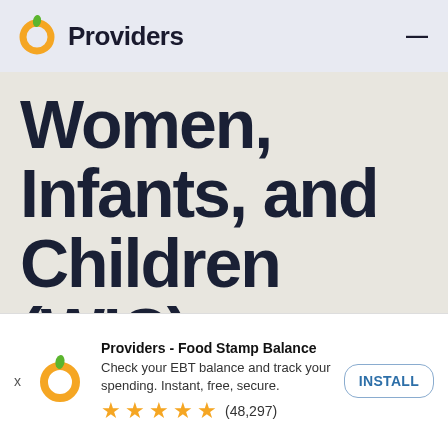Providers
Women, Infants, and Children (WIC).
If you have a question that we haven't answered here, let us
Providers - Food Stamp Balance
Check your EBT balance and track your spending. Instant, free, secure.
★★★★★ (48,297)
INSTALL